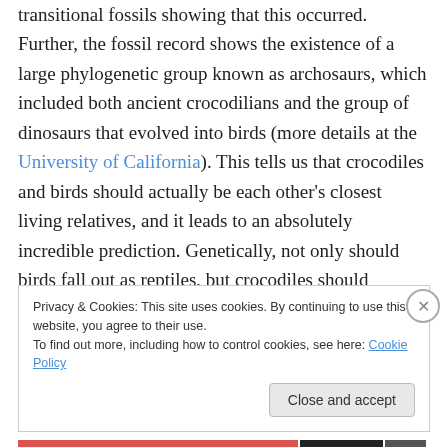transitional fossils showing that this occurred. Further, the fossil record shows the existence of a large phylogenetic group known as archosaurs, which included both ancient crocodilians and the group of dinosaurs that evolved into birds (more details at the University of California). This tells us that crocodiles and birds should actually be each other's closest living relatives, and it leads to an absolutely incredible prediction. Genetically, not only should birds fall out as reptiles, but crocodiles should actually be more closely related to birds than they are to other reptiles. That is an amazing prediction that makes no sense under
Privacy & Cookies: This site uses cookies. By continuing to use this website, you agree to their use.
To find out more, including how to control cookies, see here: Cookie Policy